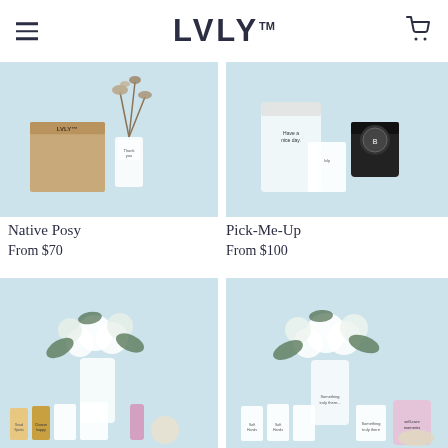LVLY™
[Figure (photo): Native Posy product photo: kraft box with LVLY logo, glass vase with native dried flowers on light blue background]
[Figure (photo): Pick-Me-Up product photo: glass jar with 'Have a nice day' label and black lid jar on light blue background]
Native Posy
From $70
Pick-Me-Up
From $100
[Figure (photo): Product photo: white flower bouquet in glass vase with skincare/wellness products including cans and bottles on light blue background]
[Figure (photo): Product photo: white flower bouquet in glass vase with skincare tubes, candle and pouch on light blue background]